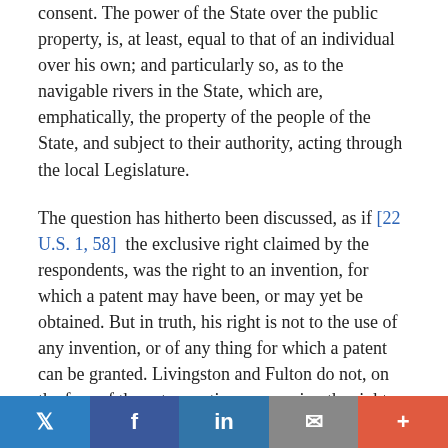consent. The power of the State over the public property, is, at least, equal to that of an individual over his own; and particularly so, as to the navigable rivers in the State, which are, emphatically, the property of the people of the State, and subject to their authority, acting through the local Legislature.
The question has hitherto been discussed, as if [22 U.S. 1, 58] the exclusive right claimed by the respondents, was the right to an invention, for which a patent may have been, or may yet be obtained. But in truth, his right is not to the use of any invention, or of any thing for which a patent can be granted. Livingston and Fulton do not, on the face of the acts granting or securing the right, claim to be the inventors of any thing. In the act of 1798, c. 55. s. 21. it is recited, that R. R. L. 'is the possessor of a mode of applying the steam engine to the propelling of vessels, on new and
[Figure (other): Social sharing bar with Twitter, Facebook, LinkedIn, Email, and More buttons]